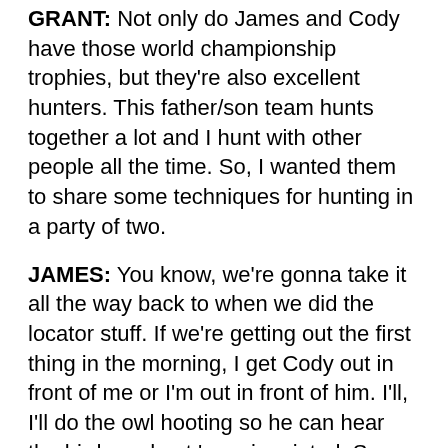GRANT: Not only do James and Cody have those world championship trophies, but they're also excellent hunters. This father/son team hunts together a lot and I hunt with other people all the time. So, I wanted them to share some techniques for hunting in a party of two.
JAMES: You know, we're gonna take it all the way back to when we did the locator stuff. If we're getting out the first thing in the morning, I get Cody out in front of me or I'm out in front of him. I'll, I'll do the owl hooting so he can hear the birds and get 'em pinpointed. Same when we set up calling into birds. I like to keep our distance about 20, 30 yards in there – 40. Depending on your terrain, but get where you can see each other.
GRANT: Right.
JAMES: That way when we're calling to each other and calling to the birds, you can actually see each other.